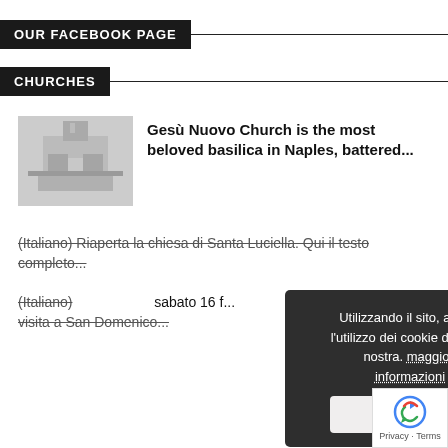OUR FACEBOOK PAGE
CHURCHES
[Figure (photo): Thumbnail photo of Gesù Nuovo Church in Naples, a historic church facade]
Gesù Nuovo Church is the most beloved basilica in Naples, battered...
(Italiano) Riaperta la chiesa di Santa Luciella. Qui il testo completo...
(Italiano) ... sabato 16 f... visita a San Domenico...
[Figure (screenshot): Cookie consent overlay with Italian text: Utilizzando il sito, accetti l'utilizzo dei cookie da parte nostra. maggiori informazioni. Button: Accetto]
[Figure (logo): Google reCAPTCHA badge with Privacy - Terms text]